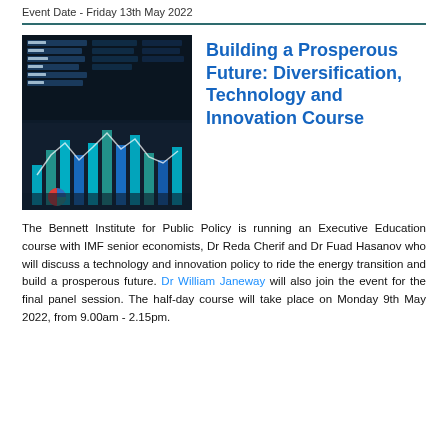Event Date - Friday 13th May 2022
[Figure (photo): Financial data visualization with charts, bar graphs, and pie charts on dark background]
Building a Prosperous Future: Diversification, Technology and Innovation Course
The Bennett Institute for Public Policy is running an Executive Education course with IMF senior economists, Dr Reda Cherif and Dr Fuad Hasanov who will discuss a technology and innovation policy to ride the energy transition and build a prosperous future. Dr William Janeway will also join the event for the final panel session. The half-day course will take place on Monday 9th May 2022, from 9.00am - 2.15pm.